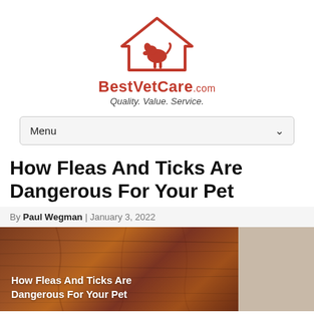[Figure (logo): BestVetCare.com logo with red house/pet silhouette icon above the brand name and tagline 'Quality. Value. Service.']
Menu
How Fleas And Ticks Are Dangerous For Your Pet
By Paul Wegman | January 3, 2022
[Figure (photo): Featured image showing a wooden surface with overlay text reading 'How Fleas And Ticks Are Dangerous For Your Pet' and a partial beige/animal image on the right]